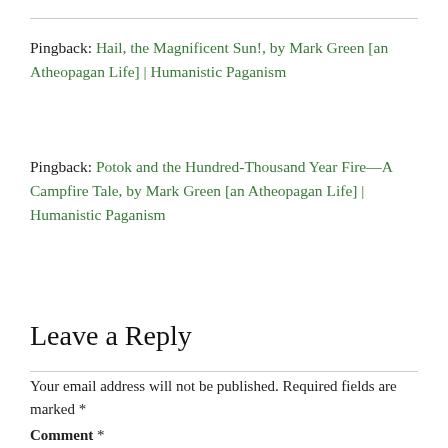Pingback: Hail, the Magnificent Sun!, by Mark Green [an Atheopagan Life] | Humanistic Paganism
Pingback: Potok and the Hundred-Thousand Year Fire—A Campfire Tale, by Mark Green [an Atheopagan Life] | Humanistic Paganism
Leave a Reply
Your email address will not be published. Required fields are marked *
Comment *